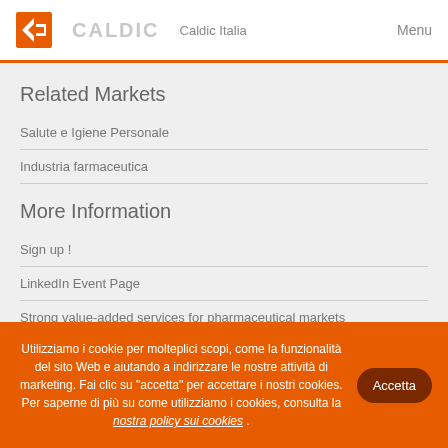Caldic — Caldic Italia — Menu
Related Markets
Salute e Igiene Personale
Industria farmaceutica
More Information
Sign up !
LinkedIn Event Page
Strong value-added services for pharmaceutical markets
Utilizziamo i cookie per molteplici scopi, come la funzionalità del sito Web e aiutando a indirizzare le nostre attività di marketing. Fai clic su "accetta" per accettare i nostri cookies. Per saperne di più su come utilizziamo i cookies, consulta la nostra policy sui cookies .